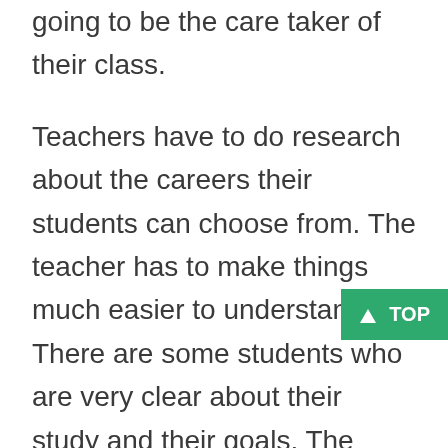have to leave those students as they are also going to be the care taker of their class.
Teachers have to do research about the careers their students can choose from. The teacher has to make things much easier to understand. There are some students who are very clear about their study and their goals. The teacher can do their work accordingly. This will take time and the teacher have to maintain calm and peace. They should not have to be hard for their students and especially when they are going through a bad phase. The teaching process should be easy